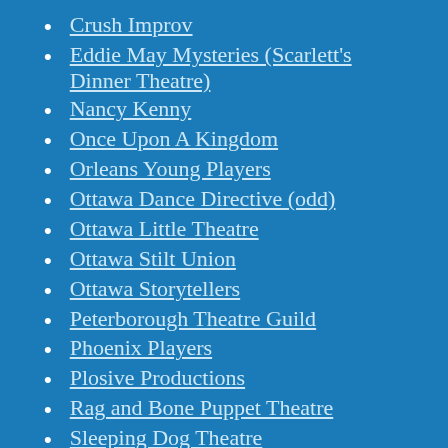Crush Improv
Eddie May Mysteries (Scarlett's Dinner Theatre)
Nancy Kenny
Once Upon A Kingdom
Orleans Young Players
Ottawa Dance Directive (odd)
Ottawa Little Theatre
Ottawa Stilt Union
Ottawa Storytellers
Peterborough Theatre Guild
Phoenix Players
Plosive Productions
Rag and Bone Puppet Theatre
Sleeping Dog Theatre
Theatre 4.669
Theatre Isn't Dead